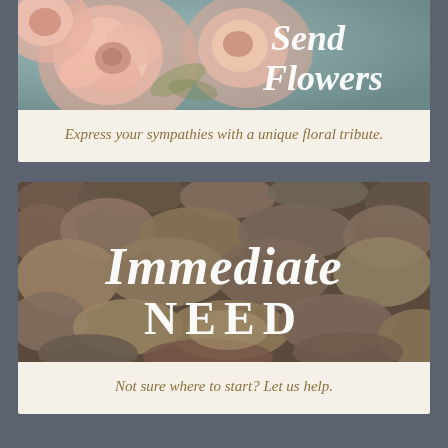[Figure (photo): Pink roses with text 'Send Flowers' overlaid in white script font on a floral background]
Express your sympathies with a unique floral tribute.
[Figure (photo): River stones/pebbles background with text 'Immediate Need' overlaid — 'Immediate' in white italic script and 'NEED' in white small-caps serif]
Not sure where to start? Let us help.